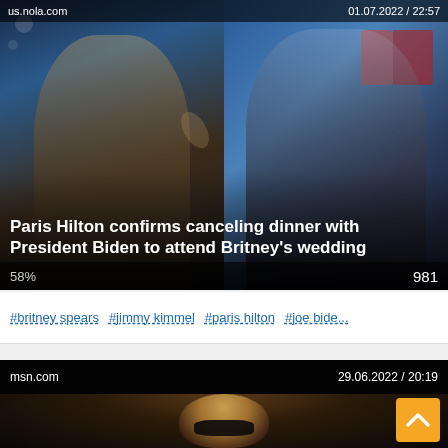[Figure (screenshot): News card showing Paris Hilton and President Biden side by side with headline overlay. Source: us.nola.com, Date: 01.07.2022 / 22:57]
Paris Hilton confirms canceling dinner with President Biden to attend Britney's wedding
58%   981
#britney spears   #jimmy kimmel   #paris hilton   #joe bide...
[Figure (screenshot): News card showing a blonde woman with sunglasses at night. Source: msn.com, Date: 29.06.2022 / 20:19]